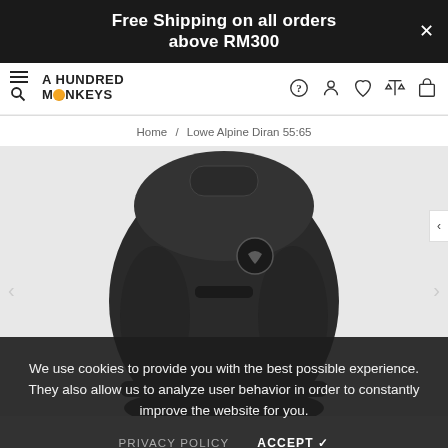Free Shipping on all orders above RM300
[Figure (logo): A Hundred Monkeys logo with hamburger menu and search icon on left, navigation icons (help, account, wishlist, compare, cart) on right]
Home / Lowe Alpine Diran 55:65
[Figure (photo): Dark grey/black Lowe Alpine Diran 55:65 backpack with brand logo visible, shown against light grey background]
We use cookies to provide you with the best possible experience. They also allow us to analyze user behavior in order to constantly improve the website for you.
PRIVACY POLICY     ACCEPT ✓